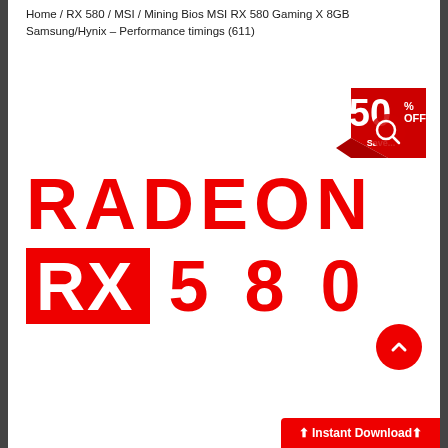Home / RX 580 / MSI / Mining Bios MSI RX 580 Gaming X 8GB Samsung/Hynix – Performance timings (611)
[Figure (logo): AMD Radeon RX 580 logo with red RADEON text and RX 580 branding on white background, plus a 50% OFF discount badge in the top right corner]
⬆ Instant Download⬆